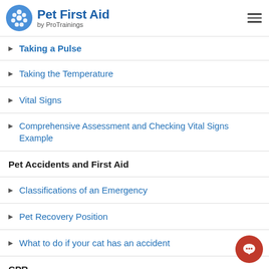Pet First Aid by ProTrainings
Taking a Pulse
Taking the Temperature
Vital Signs
Comprehensive Assessment and Checking Vital Signs Example
Pet Accidents and First Aid
Classifications of an Emergency
Pet Recovery Position
What to do if your cat has an accident
CPR